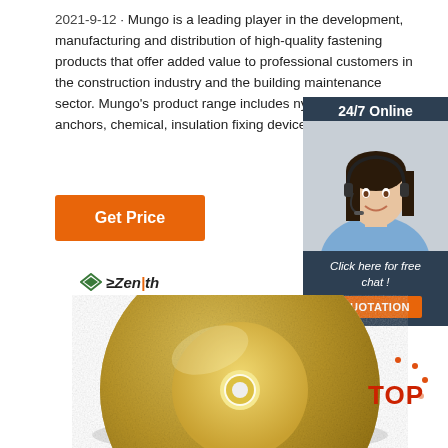2021-9-12 · Mungo is a leading player in the development, manufacturing and distribution of high-quality fastening products that offer added value to professional customers in the construction industry and the building maintenance sector. Mungo's product range includes nylon plugs, metal anchors, chemical, insulation fixing devices and drill bits.
[Figure (infographic): Orange 'Get Price' button]
[Figure (infographic): 24/7 Online chat widget with woman wearing headset, 'Click here for free chat!' text, and orange QUOTATION button]
[Figure (logo): Zenith logo with green diamond icon and italic bold text]
[Figure (photo): Gold/yellow diamond grinding disc (circular disc with textured surface and hole in center)]
[Figure (infographic): TOP badge with orange dots and red TOP text]